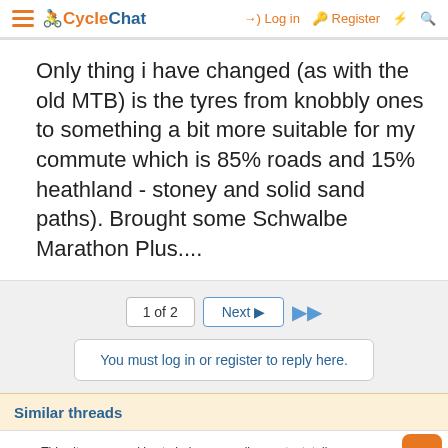CycleChat — Log in | Register
Only thing i have changed (as with the old MTB) is the tyres from knobbly ones to something a bit more suitable for my commute which is 85% roads and 15% heathland - stoney and solid sand paths). Brought some Schwalbe Marathon Plus....
1 of 2  Next  ▶▶
You must log in or register to reply here.
Similar threads
This site uses cookies to help personalise content, tailor your experience and to keep you logged in if you register.
By continuing to use this site, you are consenting to our use of cookies.
Accept  Learn more...